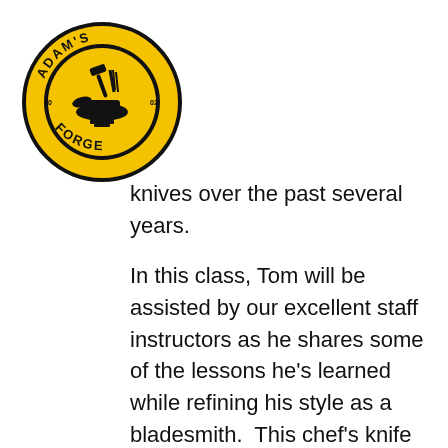[Figure (logo): Adam's Forge circular logo with yellow background, black ring with 'ADAM'S' text at top and 'FORGE' at bottom, central blacksmith anvil with tools icon, year markers '20' and '02' on sides]
knives over the past several years.

In this class, Tom will be assisted by our excellent staff instructors as he shares some of the lessons he's learned while refining his style as a bladesmith.  This chef's knife will bear some of Tom's distinctive touches, combining the Brut de Forge style in which the hammer